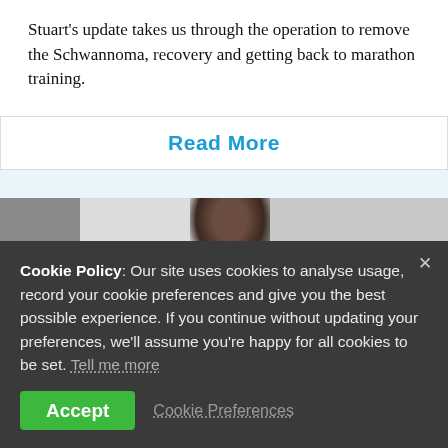Stuart's update takes us through the operation to remove the Schwannoma, recovery and getting back to marathon training.
Read More
[Figure (photo): Partial photograph of a person, showing the top of their head against a light-colored wall with a door on the left side.]
Cookie Policy: Our site uses cookies to analyse usage, record your cookie preferences and give you the best possible experience. If you continue without updating your preferences, we'll assume you're happy for all cookies to be set. Tell me more
Accept
Cookie Preferences